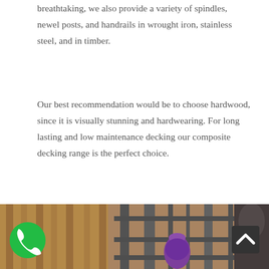breathtaking, we also provide a variety of spindles, newel posts, and handrails in wrought iron, stainless steel, and in timber.
Our best recommendation would be to choose hardwood, since it is visually stunning and hardwearing. For long lasting and low maintenance decking our composite decking range is the perfect choice.
[Figure (photo): Photo of outdoor decking or railing area with metal/timber structures, a purple ornament visible, wooden fence background, partial scene visible at bottom of page.]